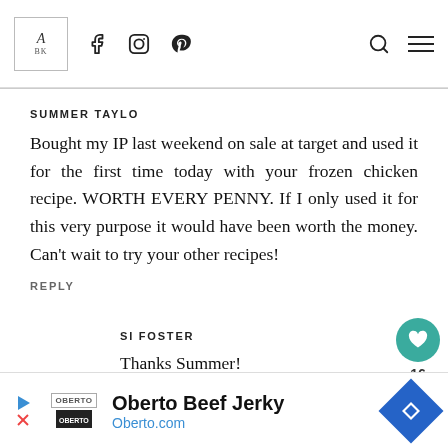A BK [logo] [facebook] [instagram] [pinterest] [search] [menu]
SUMMER TAYLO
Bought my IP last weekend on sale at target and used it for the first time today with your frozen chicken recipe. WORTH EVERY PENNY. If I only used it for this very purpose it would have been worth the money. Can't wait to try your other recipes!
REPLY
SI FOSTER
Thanks Summer!
[Figure (other): Oberto Beef Jerky advertisement banner with logo, text 'Oberto Beef Jerky', 'Oberto.com', and a blue diamond-shaped navigation icon.]